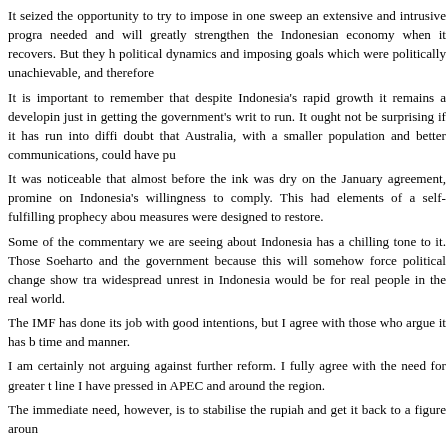It seized the opportunity to try to impose in one sweep an extensive and intrusive progra needed and will greatly strengthen the Indonesian economy when it recovers. But they h political dynamics and imposing goals which were politically unachievable, and therefore
It is important to remember that despite Indonesia's rapid growth it remains a developin just in getting the government's writ to run. It ought not be surprising if it has run into diffi doubt that Australia, with a smaller population and better communications, could have pu
It was noticeable that almost before the ink was dry on the January agreement, promine on Indonesia's willingness to comply. This had elements of a self-fulfilling prophecy abou measures were designed to restore.
Some of the commentary we are seeing about Indonesia has a chilling tone to it. Those Soeharto and the government because this will somehow force political change show tra widespread unrest in Indonesia would be for real people in the real world.
The IMF has done its job with good intentions, but I agree with those who argue it has b time and manner.
I am certainly not arguing against further reform. I fully agree with the need for greater t line I have pressed in APEC and around the region.
The immediate need, however, is to stabilise the rupiah and get it back to a figure aroun
This can't be done without wholesale reform of the banking and finance sectors, and the doesn't require the immediate dismantling of the clove monopoly, however worthy a goa
The essential requirement is to get confidence back into the investment community, bot
To do this Indonesia has to directly address the question of the private debt owed to ove will not be restored to the bulk of the corporate sector and the rupiah will continue to ho
In part this might be done by the large Indonesian companies converting debt into equity exchange rate the corporate debt will still be too high and will require dealing with. A mo
The new government has already announced plans to restructure its 164 state-owned c partnerships with foreign firms. It will find benefits in moving speedily on this front.
The immediate need for the above is that it will stabilise...